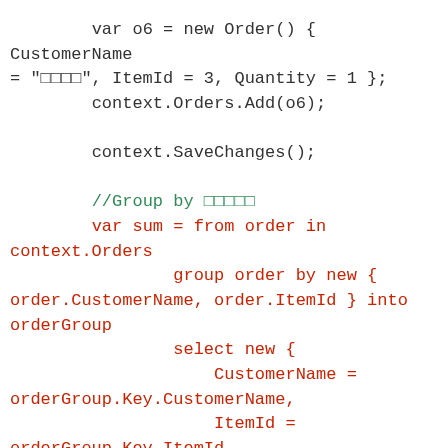var o6 = new Order() { CustomerName = "????", ItemId = 3, Quantity = 1 };
        context.Orders.Add(o6);

        context.SaveChanges();

        //Group by ?????
        var sum = from order in context.Orders
                group order by new {
order.CustomerName, order.ItemId } into orderGroup
                select new {
                    CustomerName =
orderGroup.Key.CustomerName,
                    ItemId = orderGroup.Key.ItemId,
                    Sum = orderGroup.Sum(order =>